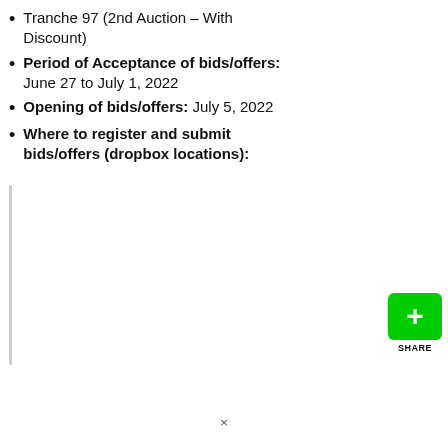Tranche 97 (2nd Auction – With Discount)
Period of Acceptance of bids/offers: June 27 to July 1, 2022
Opening of bids/offers: July 5, 2022
Where to register and submit bids/offers (dropbox locations):
[Figure (other): Green share button with plus icon and SHARE label]